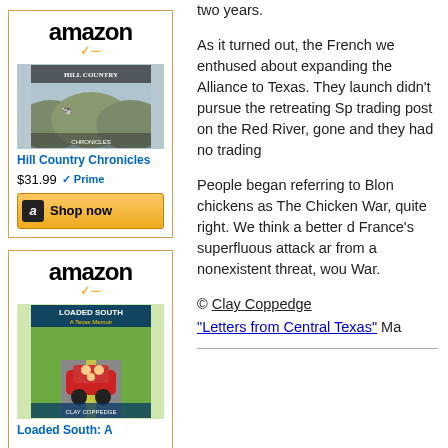[Figure (other): Amazon advertisement for 'Hill Country Chronicles' book, showing amazon logo, book cover image, price $31.99 with Prime badge, and Shop now button]
two years.
As it turned out, the French we enthused about expanding the Alliance to Texas. They launch didn't pursue the retreating Sp trading post on the Red River, gone and they had no trading
People began referring to Blon chickens as The Chicken War, quite right. We think a better d France's superfluous attack ar from a nonexistent threat, wou War.
[Figure (other): Amazon advertisement for 'Loaded South: A' book, showing amazon logo and book cover image of a car driving]
© Clay Coppedge
"Letters from Central Texas" Ma